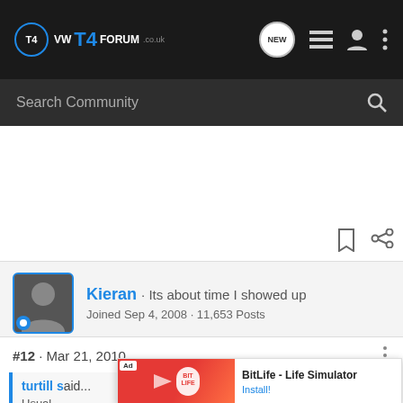VW T4 FORUM
Search Community
...continues during the weekend...
pete
Kieran · Its about time I showed up
Joined Sep 4, 2008 · 11,653 Posts
#12 · Mar 21, 2010
turtill said...
Usual ...ne
during
Ad — BitLife - Life Simulator — Install!